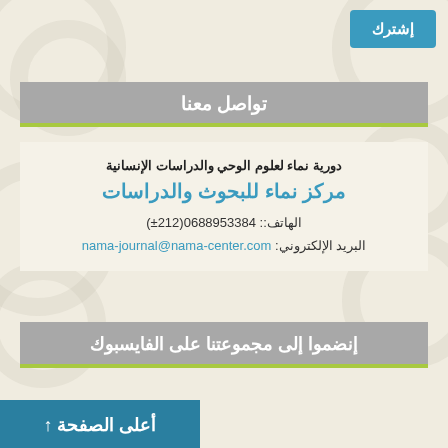إشترك
تواصل معنا
دورية نماء لعلوم الوحي والدراسات الإنسانية
مركز نماء للبحوث والدراسات
الهاتف:: 0688953384(±212)
البريد الإلكتروني: nama-journal@nama-center.com
إنضموا إلى مجموعتنا على الفايسبوك
أعلى الصفحة ↑